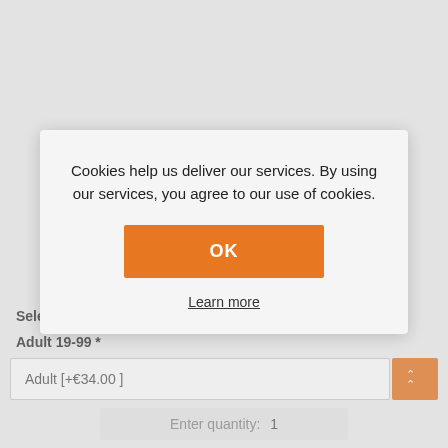[Figure (screenshot): Calendar grid showing days MO through SU, with dates 1-21 shown in orange on a light grey background]
Cookies help us deliver our services. By using our services, you agree to our use of cookies.
OK
Learn more
Select T
Adult 19-99 *
Adult [+€34.00 ]
Enter quantity: 1